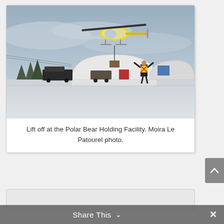[Figure (photo): A yellow and white helicopter hovering above a snowy landscape near a Quonset hut building. A person in a yellow safety vest stands with arms raised below the helicopter. Several other people and vehicles are visible on the ground. Snow covers the ground and overcast sky above.]
Lift off at the Polar Bear Holding Facility. Moira Le Patourel photo.
Share This ∨  ✕